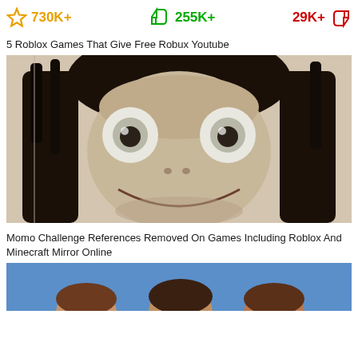730K+ 255K+ 29K+
5 Roblox Games That Give Free Robux Youtube
[Figure (photo): Close-up photo of Momo horror character face with large bulging eyes, dark hair, and wide creepy smile]
Momo Challenge References Removed On Games Including Roblox And Minecraft Mirror Online
[Figure (photo): Partial photo showing tops of children's heads from behind, against a blue background]